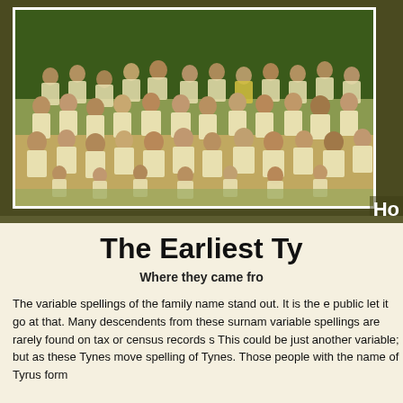[Figure (photo): A large family reunion photograph showing approximately 40-50 people of various ages posed in rows outdoors on grass, most wearing matching light yellow t-shirts with a logo. Trees are visible in the background. Photo has a white border.]
The Earliest Ty
Where they came fro
The variable spellings of the family name stand out. It is the e public let it go at that. Many descendents from these surnam variable spellings are rarely found on tax or census records s This could be just another variable; but as these Tynes move spelling of Tynes. Those people with the name of Tyrus form